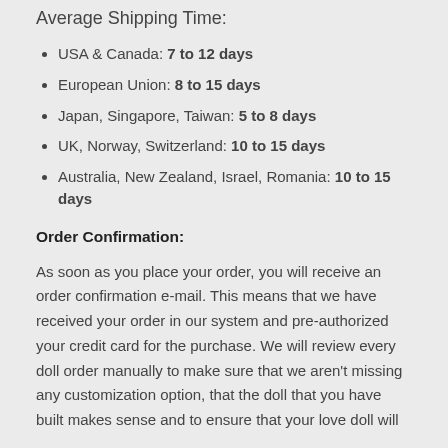Average Shipping Time:
USA & Canada: 7 to 12 days
European Union: 8 to 15 days
Japan, Singapore, Taiwan: 5 to 8 days
UK, Norway, Switzerland: 10 to 15 days
Australia, New Zealand, Israel, Romania: 10 to 15 days
Order Confirmation:
As soon as you place your order, you will receive an order confirmation e-mail. This means that we have received your order in our system and pre-authorized your credit card for the purchase. We will review every doll order manually to make sure that we aren't missing any customization option, that the doll that you have built makes sense and to ensure that your love doll will